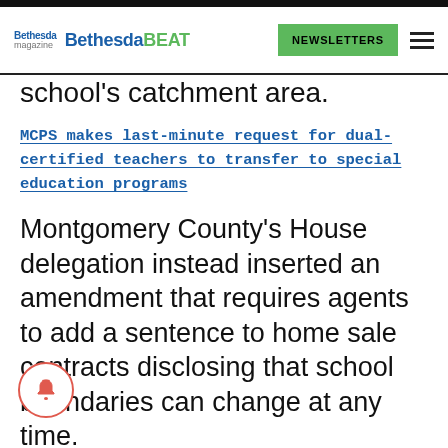Bethesda Bethesda BEAT | NEWSLETTERS
school's catchment area.
MCPS makes last-minute request for dual-certified teachers to transfer to special education programs
Montgomery County's House delegation instead inserted an amendment that requires agents to add a sentence to home sale contracts disclosing that school boundaries can change at any time.
The changes were made after discussions